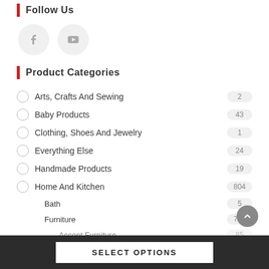Follow Us
[Figure (illustration): Two social media icon circles: Facebook and YouTube, light gray background circles with gray icons]
Product Categories
Arts, Crafts And Sewing  2
Baby Products  43
Clothing, Shoes And Jewelry  1
Everything Else  24
Handmade Products  19
Home And Kitchen  804
Bath  5
Furniture  748
Accent Furniture  85
SELECT OPTIONS